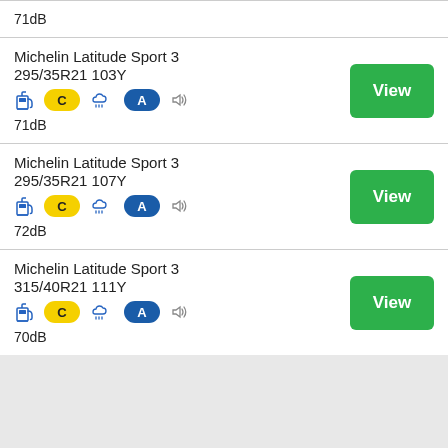71dB
Michelin Latitude Sport 3 295/35R21 103Y
C A 71dB
Michelin Latitude Sport 3 295/35R21 107Y
C A 72dB
Michelin Latitude Sport 3 315/40R21 111Y
C A 70dB